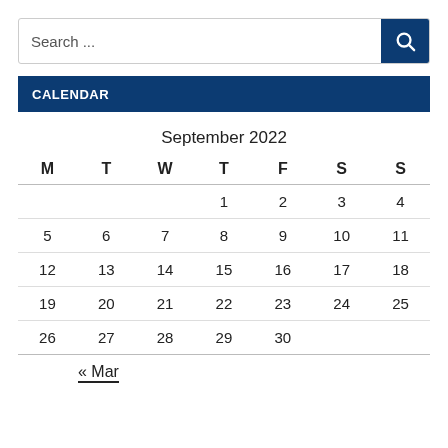Search ...
CALENDAR
| M | T | W | T | F | S | S |
| --- | --- | --- | --- | --- | --- | --- |
|  |  |  | 1 | 2 | 3 | 4 |
| 5 | 6 | 7 | 8 | 9 | 10 | 11 |
| 12 | 13 | 14 | 15 | 16 | 17 | 18 |
| 19 | 20 | 21 | 22 | 23 | 24 | 25 |
| 26 | 27 | 28 | 29 | 30 |  |  |
« Mar